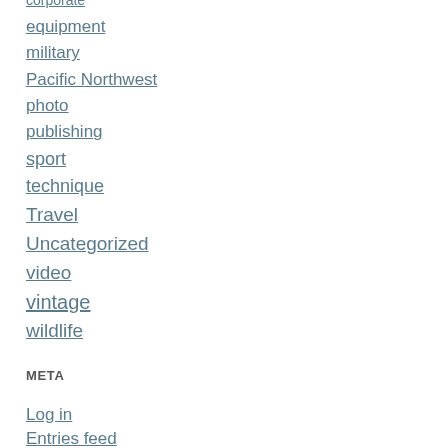corporate
equipment
military
Pacific Northwest
photo
publishing
sport
technique
Travel
Uncategorized
video
vintage
wildlife
META
Log in
Entries feed